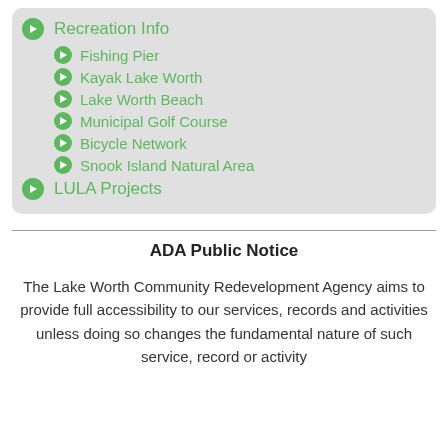Recreation Info
Fishing Pier
Kayak Lake Worth
Lake Worth Beach
Municipal Golf Course
Bicycle Network
Snook Island Natural Area
LULA Projects
ADA Public Notice
The Lake Worth Community Redevelopment Agency aims to provide full accessibility to our services, records and activities unless doing so changes the fundamental nature of such service, record or activity